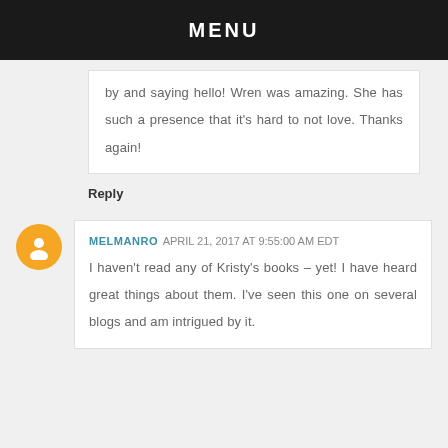MENU
by and saying hello! Wren was amazing. She has such a presence that it's hard to not love. Thanks again!
Reply
MELMANRO APRIL 21, 2017 AT 9:55:00 AM EDT
I haven't read any of Kristy's books – yet! I have heard great things about them. I've seen this one on several blogs and am intrigued by it.